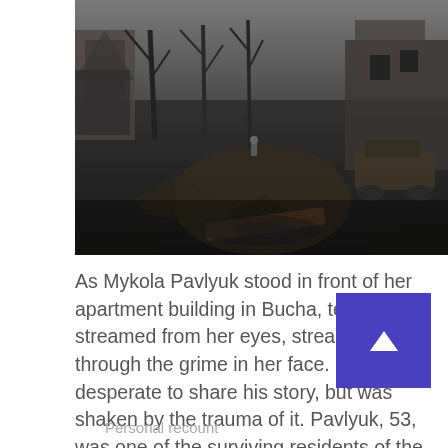[Figure (photo): A war-devastated street scene, dark and grim, showing destroyed buildings, scorched trees, burned military vehicles, rubble and mud-covered road. A lone figure stands in the background amid the destruction.]
As Mykola Pavlyuk stood in front of her apartment building in Bucha, tears streamed from her eyes, streaming through the grime in her face. He was desperate to share his story, but was shaken by the trauma of it. Pavlyuk, 53, was one of the surviving residents of the besieged Ukrainian town, northwest of Kyiv, [...]
Personal recount